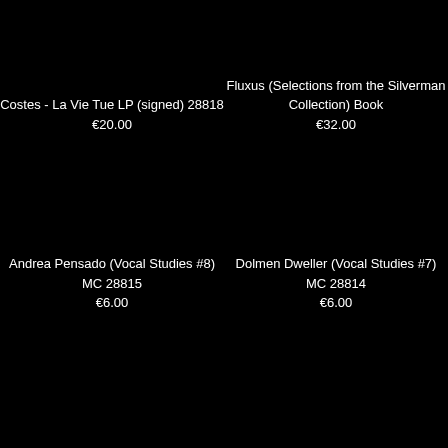Costes - La Vie Tue LP (signed) 28818
€20.00
Fluxus (Selections from the Silverman Collection) Book
€32.00
Andrea Pensado (Vocal Studies #8) MC 28815
€6.00
Dolmen Dweller (Vocal Studies #7) MC 28814
€6.00